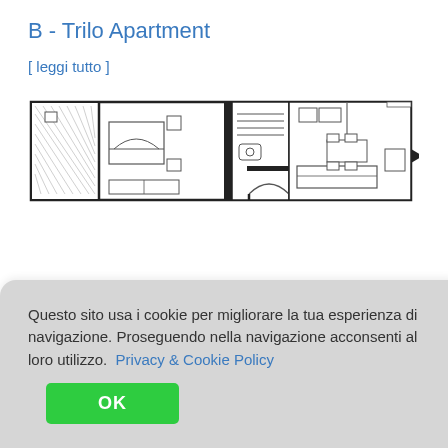B - Trilo Apartment
[ leggi tutto ]
[Figure (schematic): Floor plan of B - Trilo Apartment showing multiple rooms including bedrooms, bathroom, living area with furniture layout, drawn in architectural line drawing style.]
C - Bilo Apartment
Questo sito usa i cookie per migliorare la tua esperienza di navigazione. Proseguendo nella navigazione acconsenti al loro utilizzo.  Privacy & Cookie Policy
OK